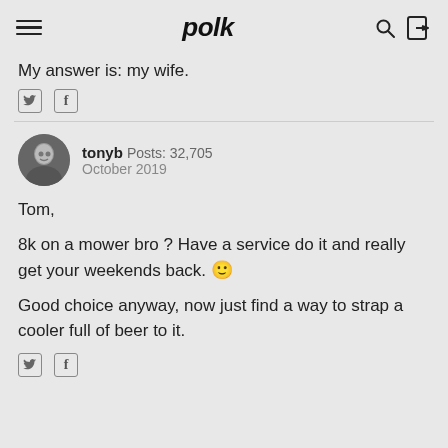polk
My answer is: my wife.
tonyb Posts: 32,705 October 2019
Tom,

8k on a mower bro ? Have a service do it and really get your weekends back. 🙂

Good choice anyway, now just find a way to strap a cooler full of beer to it.